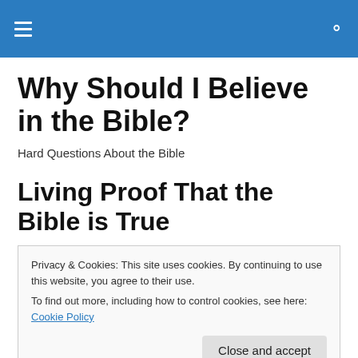Navigation menu and search icon
Why Should I Believe in the Bible?
Hard Questions About the Bible
Living Proof That the Bible is True
Privacy & Cookies: This site uses cookies. By continuing to use this website, you agree to their use.
To find out more, including how to control cookies, see here: Cookie Policy
Moses are just legendary figures.  But there's one thing